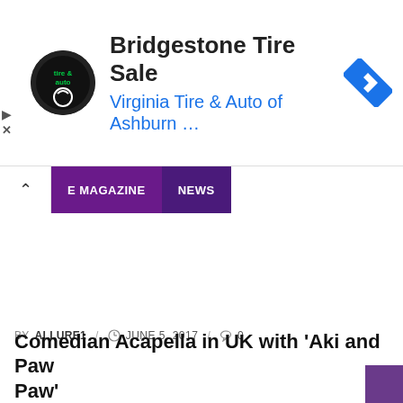[Figure (other): Advertisement banner for Bridgestone Tire Sale by Virginia Tire & Auto of Ashburn. Contains circular logo with green tire icon, bold title text, blue subtitle, and a blue diamond navigation icon on the right. Play and close controls on the left edge.]
E MAGAZINE  NEWS
BY ALLURE1 / JUNE 5, 2017 / 0
Comedian Acapella in UK with ‘Aki and Paw Paw’